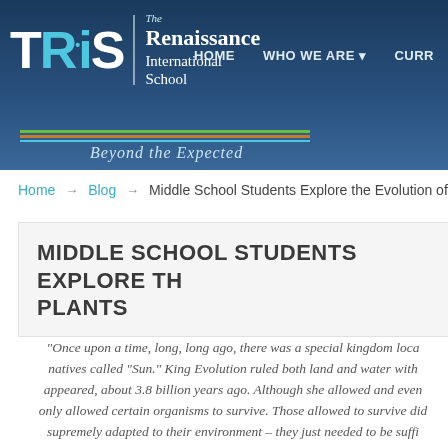[Figure (logo): TRiS The Renaissance International School logo with tagline 'Beyond the Expected' and color bars]
HOME  WHO WE ARE ▾  CURR...
Home → Blog → Middle School Students Explore the Evolution of P...
MIDDLE SCHOOL STUDENTS EXPLORE TH... PLANTS
“Once upon a time, long, long ago, there was a special kingdom loca... natives called “Sun.” King Evolution ruled both land and water with... appeared, about 3.8 billion years ago. Although she allowed and even... only allowed certain organisms to survive. Those allowed to survive did... supremely adapted to their environment – they just needed to be suffi... needed to be able to survive random challenges that she w...